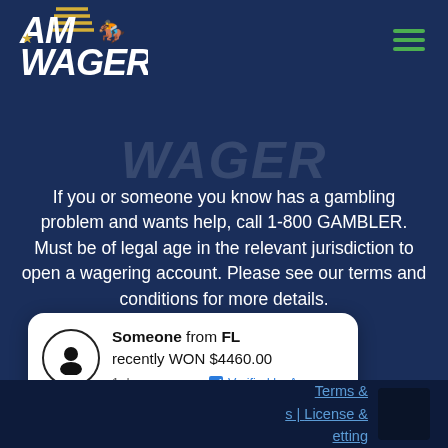[Figure (logo): AmWager logo with horse silhouette and gold stripes, white text on dark navy background]
[Figure (illustration): Ghost/watermark version of WAGER text in the background]
If you or someone you know has a gambling problem and wants help, call 1-800 GAMBLER. Must be of legal age in the relevant jurisdiction to open a wagering account. Please see our terms and conditions for more details.
Someone from FL recently WON $4460.00
1 day ago  Verified by Amwager
Terms & s | License & etting